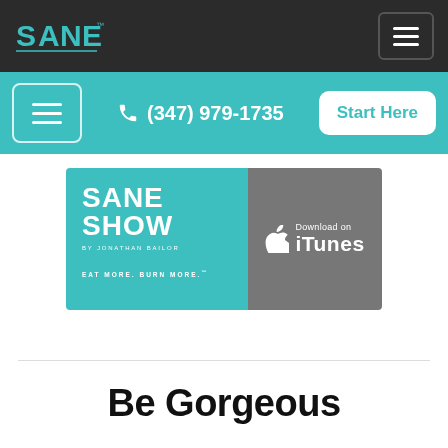[Figure (logo): SANE logo in teal on dark background navigation bar with hamburger menu button]
[Figure (screenshot): Teal navigation bar with hamburger menu, phone number (347) 979-1735, and Start Here button]
[Figure (infographic): SANE Show podcast banner with teal left panel showing SANE SHOW by Jonathan Bailor, Eat More. Burn More. and gray right panel with Download on iTunes with Apple logo]
Be Gorgeous